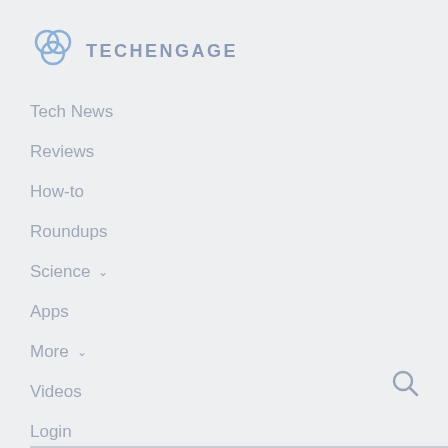[Figure (logo): TechEngage logo with hexagonal/bubble icon and text TECHENGAGE]
Tech News
Reviews
How-to
Roundups
Science
Apps
More
Videos
Login
[Figure (other): Search magnifying glass icon]